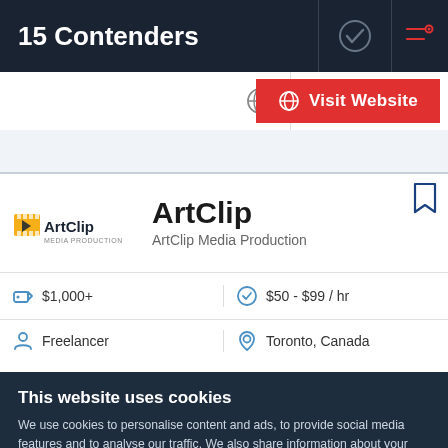15 Contenders
[Figure (screenshot): Visit Website button with globe icon in red]
[Figure (logo): ArtClip logo with orange/yellow film icon]
ArtClip
ArtClip Media Production
$1,000+
$50 - $99 / hr
Freelancer
Toronto, Canada
This website uses cookies
We use cookies to personalise content and ads, to provide social media features and to analyse our traffic. We also share information about your use of our site with our social media, advertising and analytics partners who may combine it with other information that you've provided to them or that they've collected from your use of their services. You agree to our cookies if you continue to use our website.
Close
Show details